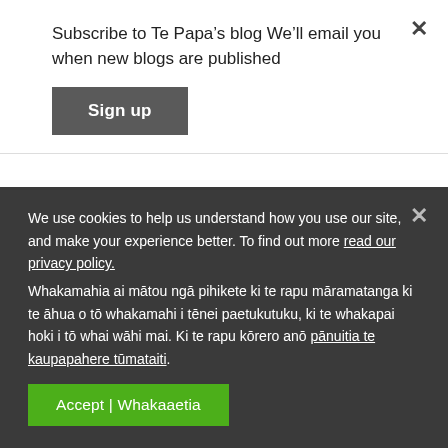Subscribe to Te Papa’s blog We’ll email you when new blogs are published
Sign up
from the Smithsonian on the historic uses of urine. Beware, those Romans used to do weird things with wee!
I’d imagine tanneries were pretty smelly places,
We use cookies to help us understand how you use our site, and make your experience better. To find out more read our privacy policy. Whakamahia ai mātou ngā pihikete ki te rapu māramatanga ki te āhua o tō whakamahi i tēnei paetukutuku, ki te whakapai hoki i tō whai wāhi mai. Ki te rapu kōrero anō pānuitia te kaupapahere tūmataiti.
Accept | Whakaaetia